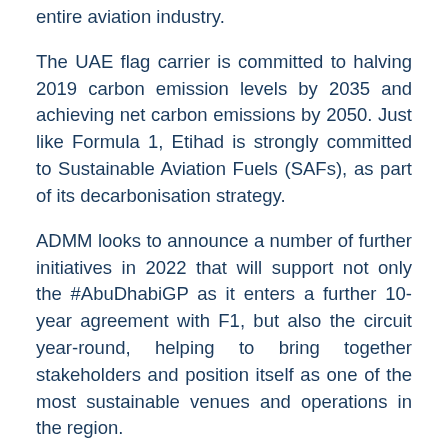entire aviation industry.
The UAE flag carrier is committed to halving 2019 carbon emission levels by 2035 and achieving net carbon emissions by 2050. Just like Formula 1, Etihad is strongly committed to Sustainable Aviation Fuels (SAFs), as part of its decarbonisation strategy.
ADMM looks to announce a number of further initiatives in 2022 that will support not only the #AbuDhabiGP as it enters a further 10-year agreement with F1, but also the circuit year-round, helping to bring together stakeholders and position itself as one of the most sustainable venues and operations in the region.
Jean Todt, FIA President, said: "The FIA Environmental Certification Framework is an important standard by which sustainability is measured across motor sport